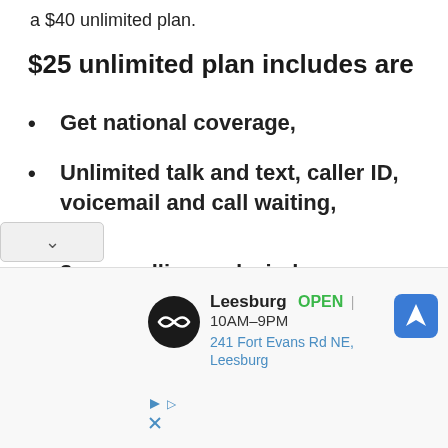a $40 unlimited plan.
$25 unlimited plan includes are
Get national coverage,
Unlimited talk and text, caller ID, voicemail and call waiting,
3-way calling and wireless connectivity,
All with no final contract and one crazy-low price.
[Figure (screenshot): Advertisement for a store: Leesburg OPEN 10AM-9PM, 241 Fort Evans Rd NE, Leesburg, with navigation arrow icon and play/close ad icons.]